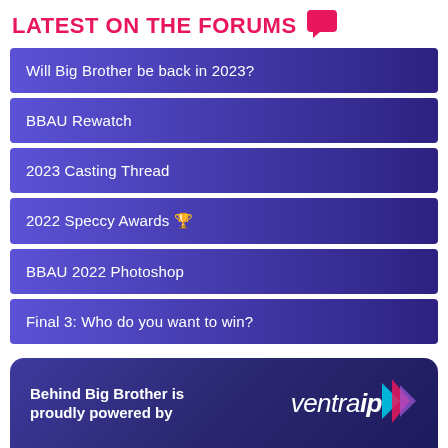LATEST ON THE FORUMS
Will Big Brother be back in 2023?
BBAU Rewatch
2023 Casting Thread
2022 Speccy Awards 🏆
BBAU 2022 Photoshop
Final 3: Who do you want to win?
Behind Big Brother is proudly powered by ventraip